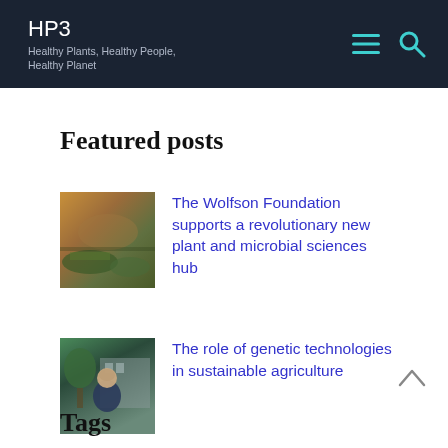HP3 — Healthy Plants, Healthy People, Healthy Planet
Featured posts
[Figure (photo): Aerial view of a garden with colourful plants and water feature]
The Wolfson Foundation supports a revolutionary new plant and microbial sciences hub
[Figure (photo): Portrait of a man outdoors with trees and building in background]
The role of genetic technologies in sustainable agriculture
Tags